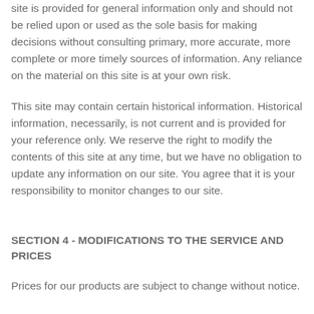site is provided for general information only and should not be relied upon or used as the sole basis for making decisions without consulting primary, more accurate, more complete or more timely sources of information. Any reliance on the material on this site is at your own risk.
This site may contain certain historical information. Historical information, necessarily, is not current and is provided for your reference only. We reserve the right to modify the contents of this site at any time, but we have no obligation to update any information on our site. You agree that it is your responsibility to monitor changes to our site.
SECTION 4 - MODIFICATIONS TO THE SERVICE AND PRICES
Prices for our products are subject to change without notice.